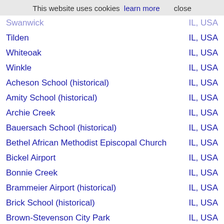This website uses cookies  learn more  close
Swanwick | IL, USA
Tilden | IL, USA
Whiteoak | IL, USA
Winkle | IL, USA
Acheson School (historical) | IL, USA
Amity School (historical) | IL, USA
Archie Creek | IL, USA
Bauersach School (historical) | IL, USA
Bethel African Methodist Episcopal Church | IL, USA
Bickel Airport | IL, USA
Bonnie Creek | IL, USA
Brammeier Airport (historical) | IL, USA
Brick School (historical) | IL, USA
Brown-Stevenson City Park | IL, USA
Caledonia Cemetery | IL, USA
Carson Branch | IL, USA